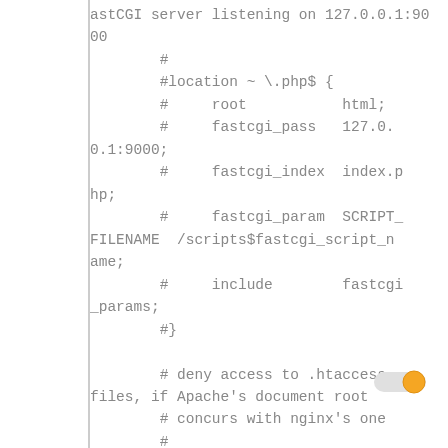astCGI server listening on 127.0.0.1:9000
        #
        #location ~ \.php$ {
        #     root           html;
        #     fastcgi_pass   127.0.0.1:9000;
        #     fastcgi_index  index.php;
        #     fastcgi_param  SCRIPT_FILENAME  /scripts$fastcgi_script_name;
        #     include        fastcgi_params;
        #}

        # deny access to .htaccess files, if Apache's document root
        # concurs with nginx's one
        #
        #location ~ /\.ht {
        #     deny  all;